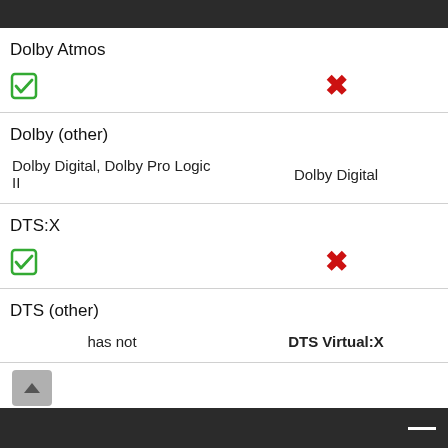|  |  |
| --- | --- |
| Dolby Atmos |  |
| ✓ | ✗ |
| Dolby (other) |  |
| Dolby Digital, Dolby Pro Logic II | Dolby Digital |
| DTS:X |  |
| ✓ | ✗ |
| DTS (other) |  |
| has not | DTS Virtual:X |